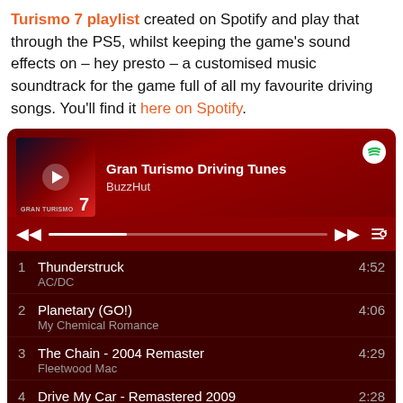Turismo 7 playlist created on Spotify and play that through the PS5, whilst keeping the game's sound effects on – hey presto – a customised music soundtrack for the game full of all my favourite driving songs. You'll find it here on Spotify.
[Figure (screenshot): Spotify playlist card for 'Gran Turismo Driving Tunes' by BuzzHut, showing album art with Gran Turismo 7 branding, playback controls, and a track list with 5 songs: 1. Thunderstruck - AC/DC (4:52), 2. Planetary (GO!) - My Chemical Romance (4:06), 3. The Chain - 2004 Remaster - Fleetwood Mac (4:29), 4. Drive My Car - Remastered 2009 - The Beatles (2:28), 5. Eye of the Tiger (4:03, artist cut off)]